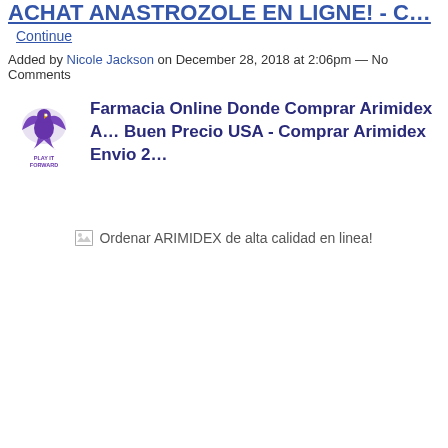ACHAT ANASTROZOLE EN LIGNE! - C…
Continue
Added by Nicole Jackson on December 28, 2018 at 2:06pm — No Comments
[Figure (logo): Play It Forward logo — purple bird/wings graphic with text PLAY IT FORWARD]
Farmacia Online Donde Comprar Arimidex A… Buen Precio USA - Comprar Arimidex Envio 2…
[Figure (other): Broken image placeholder: Ordenar ARIMIDEX de alta calidad en linea!]